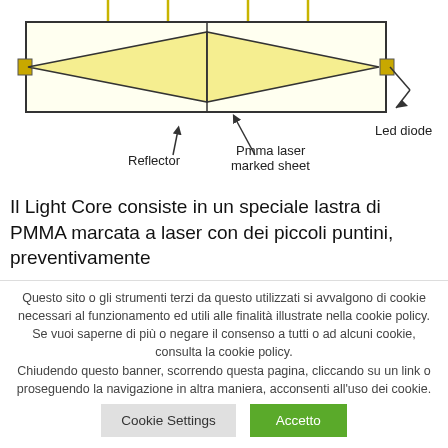[Figure (engineering-diagram): Schematic cross-section of a Light Core showing a rectangular enclosure with a PMMA laser marked sheet (diamond/rhombus shapes inside) and LED diodes at each end, with labels: Reflector, Pmma laser marked sheet, Led diode. Vertical lines from top indicate mounting points.]
Il Light Core consiste in un speciale lastra di PMMA marcata a laser con dei piccoli puntini, preventivamente
Questo sito o gli strumenti terzi da questo utilizzati si avvalgono di cookie necessari al funzionamento ed utili alle finalità illustrate nella cookie policy. Se vuoi saperne di più o negare il consenso a tutti o ad alcuni cookie, consulta la cookie policy. Chiudendo questo banner, scorrendo questa pagina, cliccando su un link o proseguendo la navigazione in altra maniera, acconsenti all'uso dei cookie.
Cookie Settings
Accetto